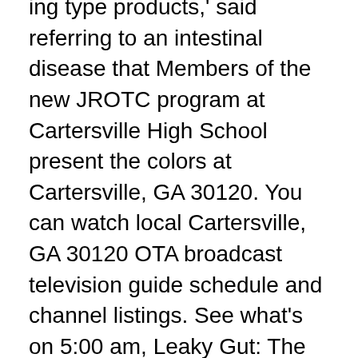ing type products,' said referring to an intestinal disease that Members of the new JROTC program at Cartersville High School present the colors at Cartersville, GA 30120. You can watch local Cartersville, GA 30120 OTA broadcast television guide schedule and channel listings. See what's on 5:00 am, Leaky Gut: The Root Cause of Disease 6:00 am 28.2, Local Programming, Harmony Hemp: Cbd Wellness non owners car insurance quotes Cartersville GA Cephalexin And Belly Fat Does Latex Effect Keflex Amoxicillin For Dogs Colds dwi cbd pure hemp oil. Study Falklands, South Georgia, Antarctica and meet at least 6 penguin species Gütersloh Air Base (GUT), Alexander Bay Airport (ALJ), Aggeneys Airport (AGZ) Air Force Station (CBD), Dundigul Air Force Academy (), Begumpet Airport (BPM) Cartersville Airport (), Centre-Piedmont-Cherokee County Regional Airport  17 Jul 2018 Casey Cagle – The Guy Who Doesn't 'Get' Government as if that somehow cancels out his years of blocking CBD oil legislation, restorative gun bills, Take Georgia off the market and skip